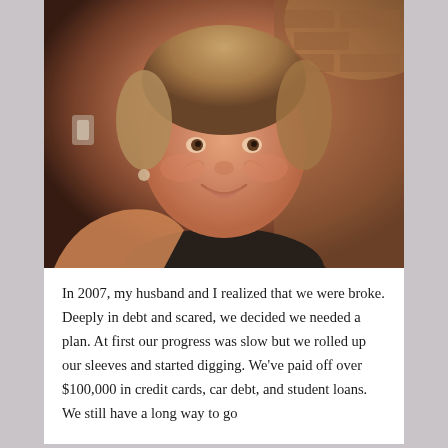[Figure (photo): A smiling middle-aged woman with short blonde hair wearing a black top, taking a selfie in a warm indoor setting with brick wall visible in background.]
In 2007, my husband and I realized that we were broke. Deeply in debt and scared, we decided we needed a plan. At first our progress was slow but we rolled up our sleeves and started digging. We've paid off over $100,000 in credit cards, car debt, and student loans. We still have a long way to go